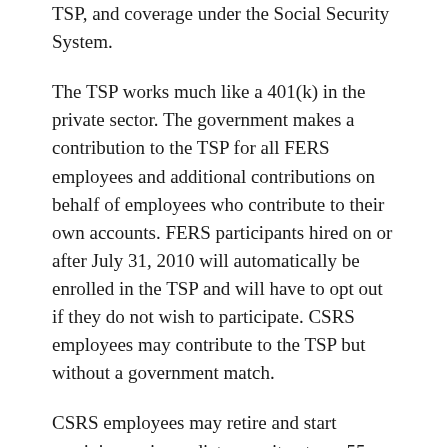TSP, and coverage under the Social Security System.
The TSP works much like a 401(k) in the private sector. The government makes a contribution to the TSP for all FERS employees and additional contributions on behalf of employees who contribute to their own accounts. FERS participants hired on or after July 31, 2010 will automatically be enrolled in the TSP and will have to opt out if they do not wish to participate. CSRS employees may contribute to the TSP but without a government match.
CSRS employees may retire and start receiving an immediate annuity at age 55 with 30 years of service, at age 60 with 20 years of service, or at age 62 with 5 years of service. FERS employees may retire after reaching a minimum retirement